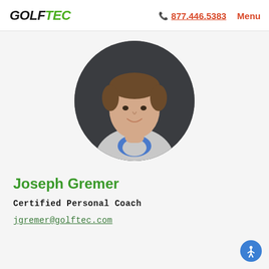GOLFTEC | 877.446.5383 | Menu
[Figure (photo): Circular profile photo of Joseph Gremer, a young man smiling, wearing a white and blue shirt, with a dark grey background]
Joseph Gremer
Certified Personal Coach
jgremer@golftec.com